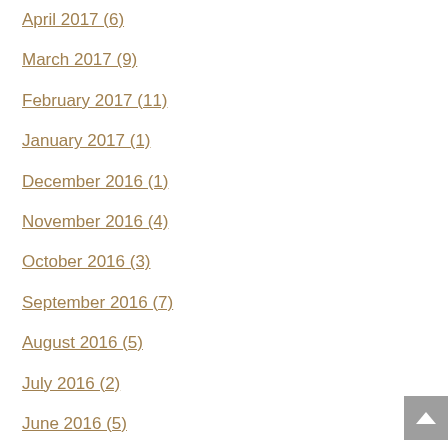April 2017 (6)
March 2017 (9)
February 2017 (11)
January 2017 (1)
December 2016 (1)
November 2016 (4)
October 2016 (3)
September 2016 (7)
August 2016 (5)
July 2016 (2)
June 2016 (5)
May 2016 (4)
April 2016 (3)